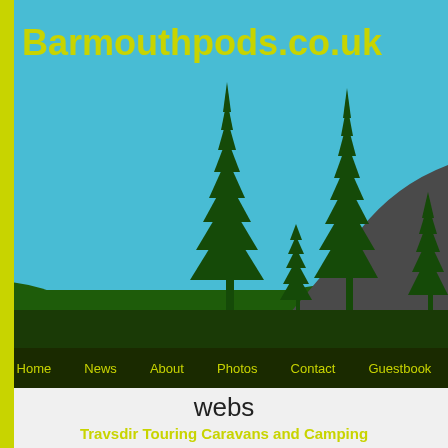[Figure (illustration): Website header illustration with blue sky background, dark green silhouette trees and rolling hills, with a winding dark road leading into the distance. Yellow-green 'Barmouthpods.co.uk' title text in top-left over the illustration.]
Barmouthpods.co.uk
Home   News   About   Photos   Contact   Guestbook
webs
Travsdir Touring Caravans and Camping